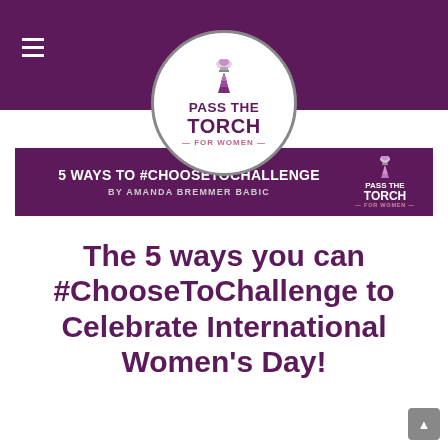[Figure (logo): Pass The Torch For Women logo in a white circle on purple header bar, with torch icon and text 'PASS THE TORCH FOR WOMEN']
[Figure (infographic): Dark purple banner with text '5 WAYS TO #CHOOSETOCHALLENGE BY AMANDA BREMMER BABIC' and Pass The Torch For Women logo on the right]
The 5 ways you can #ChooseToChallenge to Celebrate International Women's Day!